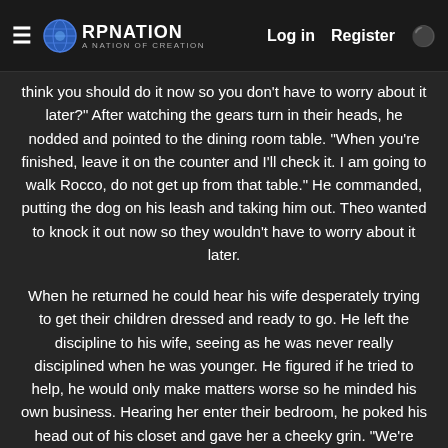RPNation — Log in   Register
think you should do it now so you don't have to worry about it later?" After watching the gears turn in their heads, he nodded and pointed to the dining room table. "When you're finished, leave it on the counter and I'll check it. I am going to walk Rocco, do not get up from that table." He commanded, putting the dog on his leash and taking him out. Theo wanted to knock it out now so they wouldn't have to worry about it later.
When he returned he could hear his wife desperately trying to get their children dressed and ready to go. He left the discipline to his wife, seeing as he was never really disciplined when he was younger. He figured if he tried to help, he would only make matters worse so he minded his own business. Hearing her enter their bedroom, he poked his head out of his closet and gave her a cheeky grin. "We're going to say it's you considering you know I can't say no to you sometimes." He met her halfway, standing in his black t-shirt while his hands made their way to her hips. Returning